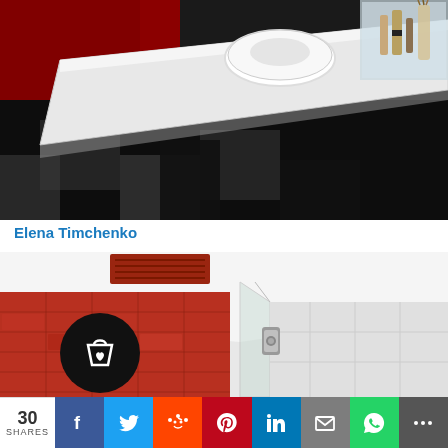[Figure (photo): Bathroom vanity with white countertop, round white vessel sink, black and white checkered tile floor, red accent wall, and toiletry items on the counter]
Elena Timchenko
[Figure (photo): Bathroom shower area with red mosaic tile wall on left, glass shower partition with chrome hardware, and white tiles on right]
30 SHARES | Facebook | Twitter | Reddit | Pinterest | LinkedIn | Email | WhatsApp | More